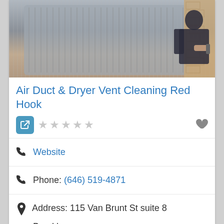[Figure (photo): HVAC technician working on an air conditioning unit against a brick wall]
Air Duct & Dryer Vent Cleaning Red Hook
Rating: 0 out of 5 stars
Website
Phone: (646) 519-4871
Address: 115 Van Brunt St suite 8
Brooklyn
New York
11231
United States